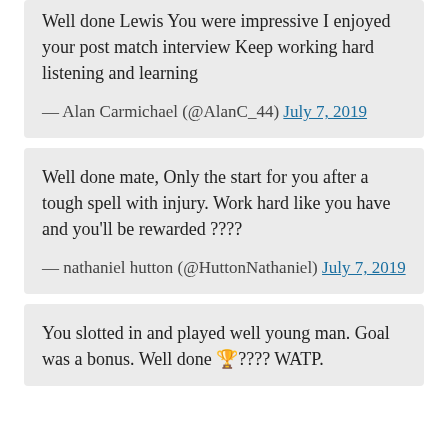Well done Lewis You were impressive I enjoyed your post match interview Keep working hard listening and learning
— Alan Carmichael (@AlanC_44) July 7, 2019
Well done mate, Only the start for you after a tough spell with injury. Work hard like you have and you'll be rewarded ????
— nathaniel hutton (@HuttonNathaniel) July 7, 2019
You slotted in and played well young man. Goal was a bonus. Well done 🏆???? WATP.